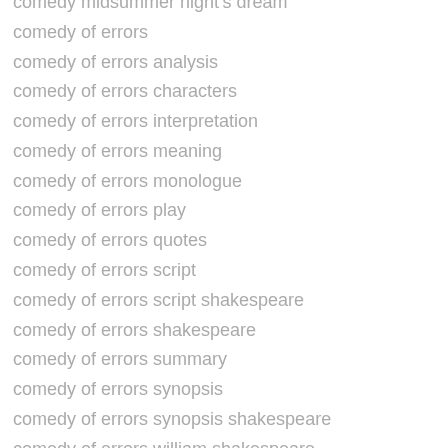comedy midsummer night's dream
comedy of errors
comedy of errors analysis
comedy of errors characters
comedy of errors interpretation
comedy of errors meaning
comedy of errors monologue
comedy of errors play
comedy of errors quotes
comedy of errors script
comedy of errors script shakespeare
comedy of errors shakespeare
comedy of errors summary
comedy of errors synopsis
comedy of errors synopsis shakespeare
comedy of errors william shakespeare
comedy tragedy winter's tale
commentaries commentary on coriolanus